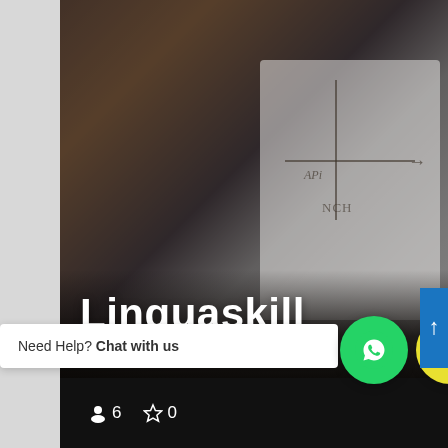[Figure (photo): Blurred photo of a person with dark hair in front of a whiteboard with axis/arrow diagram, overlaid with title Linguaskill]
Linguaskill
Need Help? Chat with us
6  0